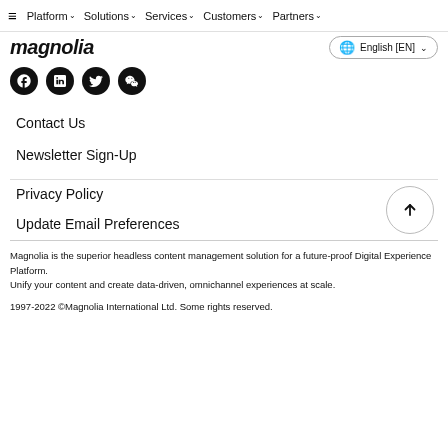≡  Platform ∨  Solutions ∨  Services ∨  Customers ∨  Partners ∨
[Figure (logo): Magnolia logo (text-based italic logo) with globe icon and English [EN] language selector]
[Figure (other): Social media icons: Facebook, LinkedIn, Twitter, WeChat]
Contact Us
Newsletter Sign-Up
Privacy Policy
Update Email Preferences
Magnolia is the superior headless content management solution for a future-proof Digital Experience Platform.
Unify your content and create data-driven, omnichannel experiences at scale.
1997-2022 ©Magnolia International Ltd. Some rights reserved.